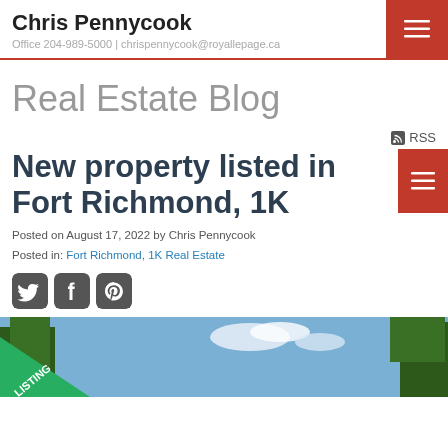Chris Pennycook
Office 204-989-5000 | chrispennycook@royallepage.ca
Real Estate Blog
RSS
New property listed in Fort Richmond, 1K
Posted on August 17, 2022 by Chris Pennycook
Posted in: Fort Richmond, 1K Real Estate
[Figure (other): Social media share icons: Twitter, Facebook, Pinterest]
[Figure (photo): Property listing photo showing trees and blue sky with a green diagonal NEW LISTING banner in the bottom-left corner]